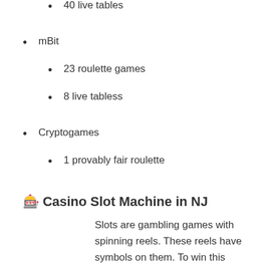40 live tables
mBit
23 roulette games
8 live tabless
Cryptogames
1 provably fair roulette
🎰 Casino Slot Machine in NJ
Slots are gambling games with spinning reels. These reels have symbols on them. To win this game, you have to place a bet and spin the reels; if the same symbol